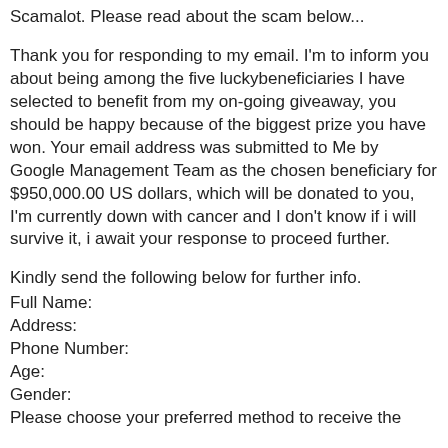Scamalot. Please read about the scam below...
Thank you for responding to my email. I'm to inform you about being among the five luckybeneficiaries I have selected to benefit from my on-going giveaway, you should be happy because of the biggest prize you have won. Your email address was submitted to Me by Google Management Team as the chosen beneficiary for $950,000.00 US dollars, which will be donated to you, I'm currently down with cancer and I don't know if i will survive it, i await your response to proceed further.
Kindly send the following below for further info.
Full Name:
Address:
Phone Number:
Age:
Gender:
Please choose your preferred method to receive the